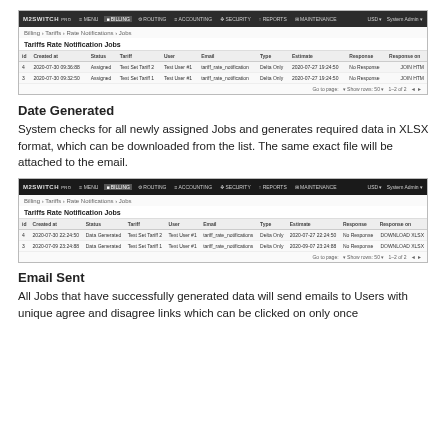[Figure (screenshot): M2SWITCH application screenshot showing Tariffs Rate Notification Jobs list with two rows, status Assigned, columns: id, Created at, Status, Tariff, User, Email, Type, Estimate, Response, Response on]
Date Generated
System checks for all newly assigned Jobs and generates required data in XLSX format, which can be downloaded from the list. The same exact file will be attached to the email.
[Figure (screenshot): M2SWITCH application screenshot showing Tariffs Rate Notification Jobs list with two rows, status Data Generated, same columns as above]
Email Sent
All Jobs that have successfully generated data will send emails to Users with unique agree and disagree links which can be clicked on only once